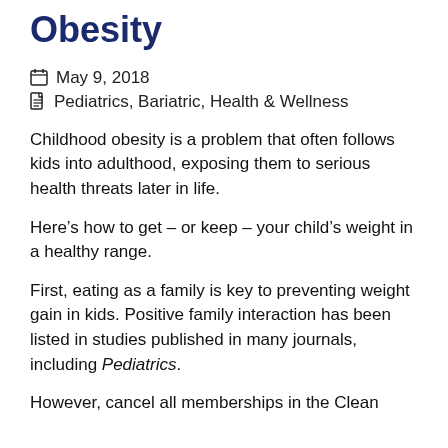Obesity
May 9, 2018
Pediatrics, Bariatric, Health & Wellness
Childhood obesity is a problem that often follows kids into adulthood, exposing them to serious health threats later in life.
Here’s how to get – or keep – your child’s weight in a healthy range.
First, eating as a family is key to preventing weight gain in kids. Positive family interaction has been listed in studies published in many journals, including Pediatrics.
However, cancel all memberships in the Clean